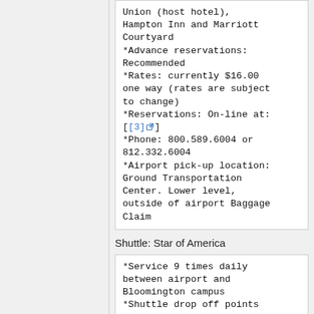Union (host hotel), Hampton Inn and Marriott Courtyard
*Advance reservations: Recommended
*Rates: currently $16.00 one way (rates are subject to change)
*Reservations: On-line at: [[3]]
*Phone: 800.589.6004 or 812.332.6004
*Airport pick-up location: Ground Transportation Center. Lower level, outside of airport Baggage Claim
Shuttle: Star of America
*Service 9 times daily between airport and Bloomington campus
*Shuttle drop off points